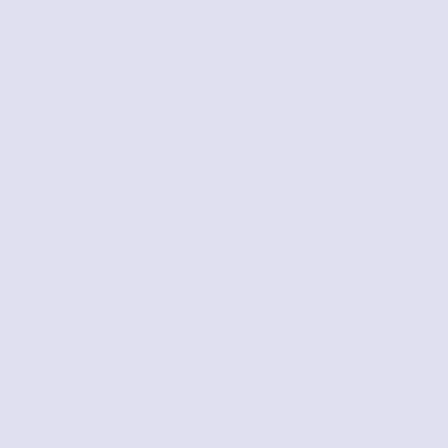class="productSpecialPrice">NOK 1,689</span><span class="productPriceDiscount"><br />Du fÃÅr&nbsp;99% avsl /><a href="http://www.besterwatch.co/no/franck-muller-klokke products_id=24366&action=buy_now&sort=20a"><img src="http://www.besterwatch.co/no/includes/templates/polo/but alt="KjÃ,p nÅÃ" title=" KjÃ,p nÅÃ " width="108" height="30 class="listingBuyNowButton" /></a><br /><br /></div> <div class="centerBoxContentsProducts centeredContent back" style="width:32.5%;"><a href="http://www.besterwatch.co/no/ klokker-heart-series-5002-m-qz-015d-p-14879.html"><div sty middle;height:200px"><img src="http://www.besterwatch.co/no/images/_small//xwatches_/ Muller/HEART-Series/Replica-Franck-Muller-watches-HEART alt="Kopi Franck Muller klokker HEART Series 5002 M QZ [0 Franck Muller klokker HEART Series 5002 M QZ [015d] " wi height="200" class="listingProductImage" id="listimg" /></di class="itemTitle"><a href="http://www.besterwatch.co/no/kopi- klokker-heart-series-5002-m-qz-015d-p-14879.html">Kopi Fra HEART Series 5002 M QZ [015d]</a></h3><div class="listing <br /><span class="normalprice">NOK 252,366 </span>&nbsp class="productSpecialPrice">NOK 2,027</span><span class="productPriceDiscount"><br />Du fÃÅr&nbsp;99% avsl /><a href="http://www.besterwatch.co/no/franck-muller-klokke products_id=14879&action=buy_now&sort=20a"><img src="http://www.besterwatch.co/no/includes/templates/polo/but